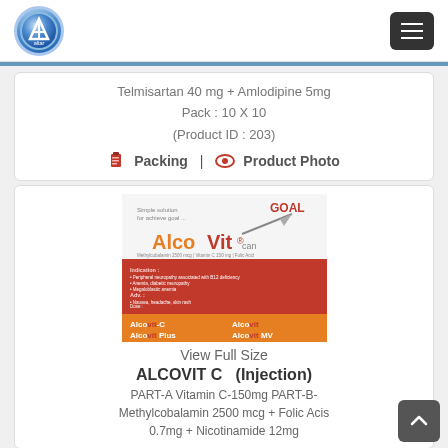[Figure (logo): Altar pharmaceutical logo — circular blue gradient with white triangle/A shape and 'altar' text]
Telmisartan 40 mg + Amlodipine 5mg
Pack : 10 X 10
(Product ID : 203)
Packing  |  Product Photo
[Figure (photo): Alcovit product promotional image showing product line including Alcovit C, Alcovit Plus, Alcovit forte, Alcovit, Alcovit MV, Alcovit Plus with red and orange sections]
View Full Size
ALCOVIT C   (Injection)
PART-A Vitamin C-150mg PART-B-Methylcobalamin 2500 mcg + Folic Acis 0.7mg + Nicotinamide 12mg